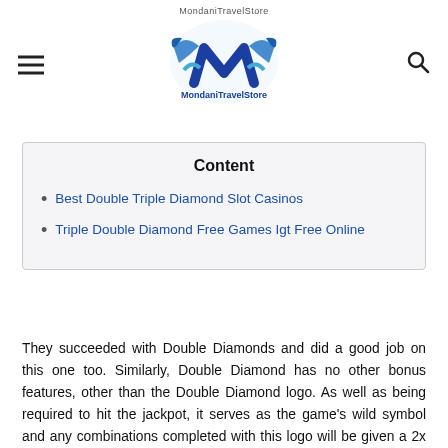MondaniTravelStore logo header
Content
Best Double Triple Diamond Slot Casinos
Triple Double Diamond Free Games Igt Free Online
They succeeded with Double Diamonds and did a good job on this one too. Similarly, Double Diamond has no other bonus features, other than the Double Diamond logo. As well as being required to hit the jackpot, it serves as the game's wild symbol and any combinations completed with this logo will be given a 2x multiplier, or 4x if two are